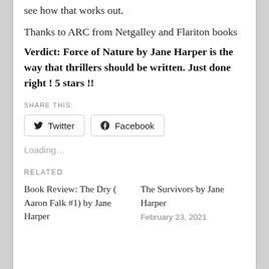see how that works out.
Thanks to ARC from Netgalley and Flariton books
Verdict: Force of Nature by Jane Harper is the way that thrillers should be written. Just done right ! 5 stars !!
SHARE THIS:
Loading…
RELATED
Book Review: The Dry ( Aaron Falk #1) by Jane Harper
The Survivors by Jane Harper
February 23, 2021